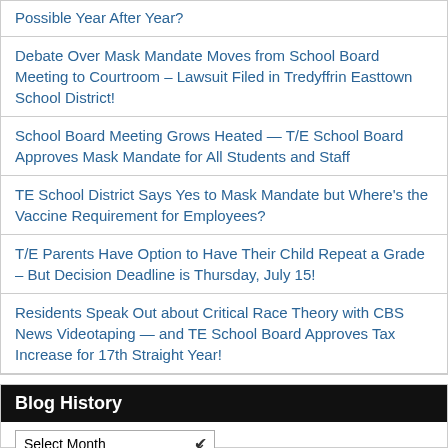Possible Year After Year?
Debate Over Mask Mandate Moves from School Board Meeting to Courtroom – Lawsuit Filed in Tredyffrin Easttown School District!
School Board Meeting Grows Heated — T/E School Board Approves Mask Mandate for All Students and Staff
TE School District Says Yes to Mask Mandate but Where's the Vaccine Requirement for Employees?
T/E Parents Have Option to Have Their Child Repeat a Grade – But Decision Deadline is Thursday, July 15!
Residents Speak Out about Critical Race Theory with CBS News Videotaping — and TE School Board Approves Tax Increase for 17th Straight Year!
TESD Board Meeting on Monday, June 14: Will This Mark the 17th Straight Year for a Tax Increase? Non-Agenda Item: Critical Race Theory Has Parents Looking for Answers
Blog History
Select Month